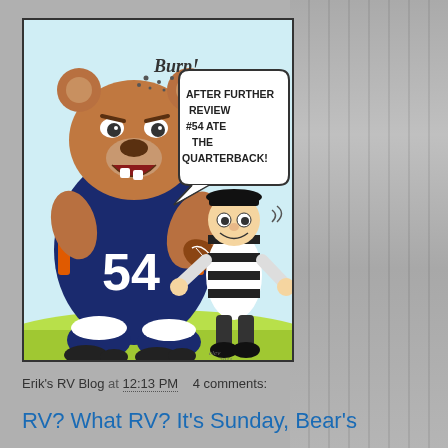[Figure (illustration): Cartoon of a large bear wearing Chicago Bears #54 football jersey holding a football and a referee's hat, with speech bubble saying 'AFTER FURTHER REVIEW #54 ATE THE QUARTERBACK!' and 'BURP!' text near the bear's mouth. A small referee in black and white striped shirt stands next to the bear looking surprised.]
Erik's RV Blog at 12:13 PM    4 comments:
RV? What RV? It's Sunday, Bear's